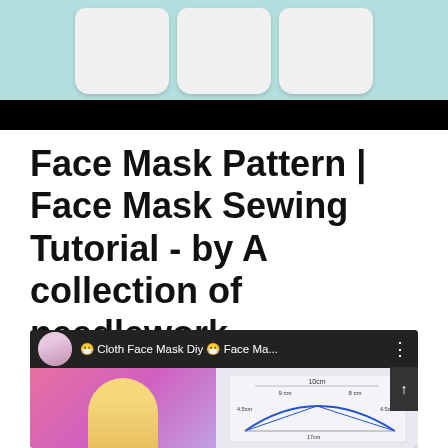[Figure (photo): Photo of white pentagon/shield-shaped mask pattern pieces laid on a light teal/blue surface, with a black bar at the bottom of the image area.]
Face Mask Pattern | Face Mask Sewing Tutorial - by A collection of needlework
[Figure (screenshot): YouTube video thumbnail showing a woman with blonde hair on a pink/purple background on the left, and a face mask sewing pattern diagram on the right, with the video title '😷 Cloth Face Mask Diy 😷 Face Ma...' and a channel avatar.]